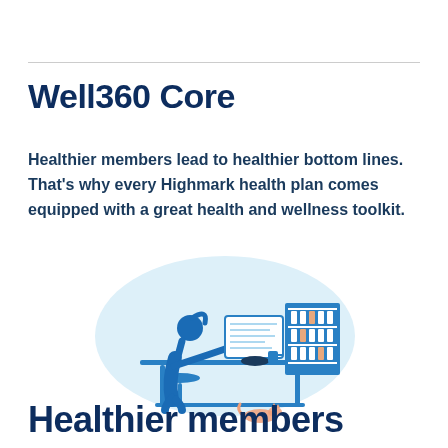Well360 Core
Healthier members lead to healthier bottom lines. That's why every Highmark health plan comes equipped with a great health and wellness toolkit.
[Figure (illustration): Illustration of a woman sitting on a stool at a high counter, looking at something on a screen or surface. A shelving unit with small items is visible to the right. A small cat or animal is resting on the floor below. The scene has a light blue circular background shape.]
Healthier members